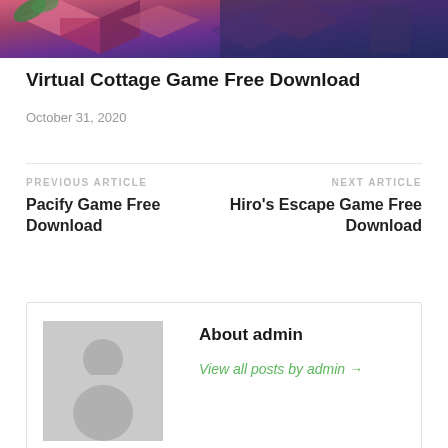[Figure (illustration): Hero image showing an isometric-style illustrated scene with pink/purple/dark blue geometric shapes, leaves, and abstract indoor elements]
Virtual Cottage Game Free Download
October 31, 2020
PREVIOUS ARTICLE
Pacify Game Free Download
NEXT ARTICLE
Hiro's Escape Game Free Download
About admin
View all posts by admin →